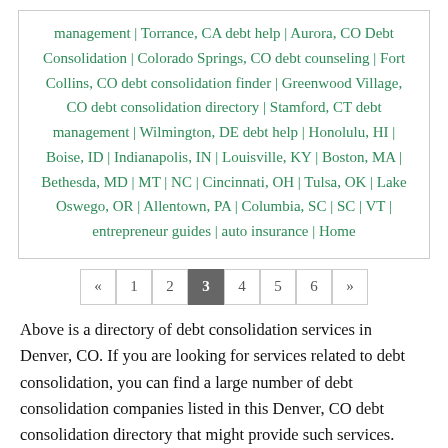management | Torrance, CA debt help | Aurora, CO Debt Consolidation | Colorado Springs, CO debt counseling | Fort Collins, CO debt consolidation finder | Greenwood Village, CO debt consolidation directory | Stamford, CT debt management | Wilmington, DE debt help | Honolulu, HI | Boise, ID | Indianapolis, IN | Louisville, KY | Boston, MA | Bethesda, MD | MT | NC | Cincinnati, OH | Tulsa, OK | Lake Oswego, OR | Allentown, PA | Columbia, SC | SC | VT | entrepreneur guides | auto insurance | Home
« 1 2 3 4 5 6 »
Above is a directory of debt consolidation services in Denver, CO. If you are looking for services related to debt consolidation, you can find a large number of debt consolidation companies listed in this Denver, CO debt consolidation directory that might provide such services. Please contact individual companies or